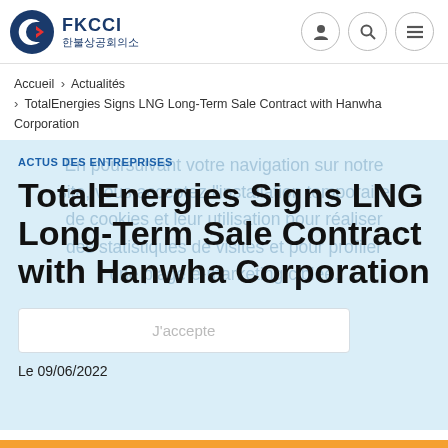FKCCI 한불상공회의소
Accueil › Actualités › TotalEnergies Signs LNG Long-Term Sale Contract with Hanwha Corporation
ACTUS DES ENTREPRISES
TotalEnergies Signs LNG Long-Term Sale Contract with Hanwha Corporation
Le 09/06/2022